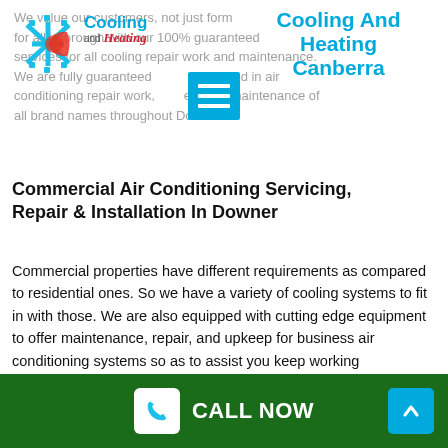[Figure (logo): Cooling and Heating logo with snowflake/sun icon, blue and red text]
Cooling And Heating Canberra
We value our customers, not just form for all, thorough with our 100% guaranteed services for all cooling repair work and maintenance. We are fully guaranteed and certified in air conditioning repair work, upkeep, and maintenance of all brand names throughout Downer.
Commercial Air Conditioning Servicing, Repair & Installation In Downer
Commercial properties have different requirements as compared to residential ones. So we have a variety of cooling systems to fit in with those. We are also equipped with cutting edge equipment to offer maintenance, repair, and upkeep for business air conditioning systems so as to assist you keep working
CALL NOW